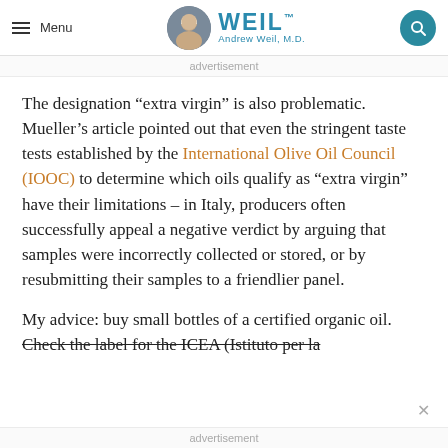Menu | WEIL Andrew Weil, M.D.
advertisement
The designation “extra virgin” is also problematic. Mueller’s article pointed out that even the stringent taste tests established by the International Olive Oil Council (IOOC) to determine which oils qualify as “extra virgin” have their limitations – in Italy, producers often successfully appeal a negative verdict by arguing that samples were incorrectly collected or stored, or by resubmitting their samples to a friendlier panel.
My advice: buy small bottles of a certified organic oil. Check the label for the ICEA (Istituto per la
advertisement